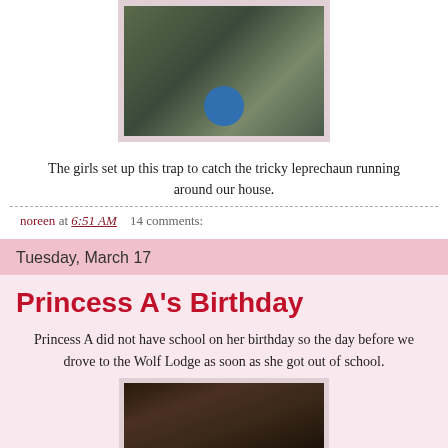[Figure (photo): Photo of two girls setting up a leprechaun trap with a blue ball and pink hula hoop on the floor]
The girls set up this trap to catch the tricky leprechaun running around our house.
noreen at 6:51 AM    14 comments:
Tuesday, March 17
Princess A's Birthday
Princess A did not have school on her birthday so the day before we drove to the Wolf Lodge as soon as she got out of school.
[Figure (photo): Photo showing what appears to be a rustic log setting with a small figure or creature]